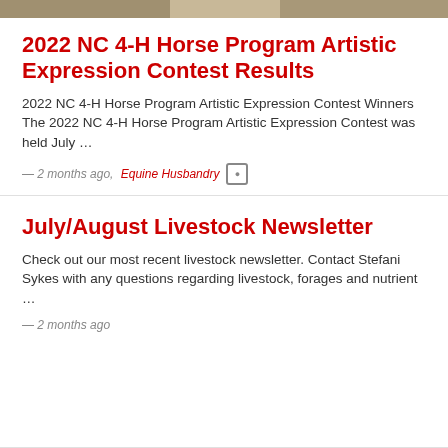[Figure (photo): Partial photo strip at top of page, cropped image of a horse or equine subject]
2022 NC 4-H Horse Program Artistic Expression Contest Results
2022 NC 4-H Horse Program Artistic Expression Contest Winners The 2022 NC 4-H Horse Program Artistic Expression Contest was held July …
— 2 months ago, Equine Husbandry [icon]
July/August Livestock Newsletter
Check out our most recent livestock newsletter. Contact Stefani Sykes with any questions regarding livestock, forages and nutrient …
— 2 months ago